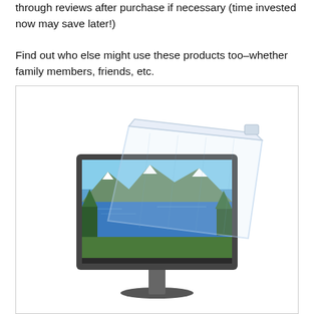through reviews after purchase if necessary (time invested now may save later!) Find out who else might use these products too–whether family members, friends, etc.
[Figure (photo): A computer monitor with a transparent screen protector/privacy filter being placed in front of the screen. The monitor shows a scenic mountain lake wallpaper with blue sky and snow-capped peaks.]